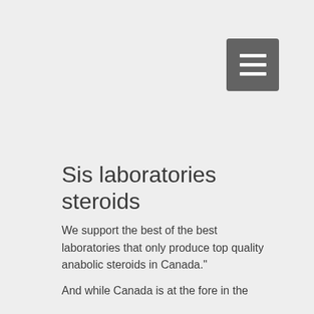[Figure (other): Hamburger/menu button icon — a dark gray square with three white horizontal lines]
Sis laboratories steroids
We support the best of the best laboratories that only produce top quality anabolic steroids in Canada."
And while Canada is at the fore in the